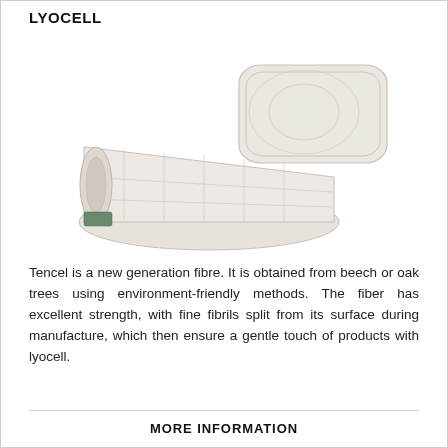LYOCELL
[Figure (photo): A white quilted blanket rolled up beside a white quilted pillow on a white background.]
Tencel is a new generation fibre. It is obtained from beech or oak trees using environment-friendly methods. The fiber has excellent strength, with fine fibrils split from its surface during manufacture, which then ensure a gentle touch of products with lyocell.
MORE INFORMATION